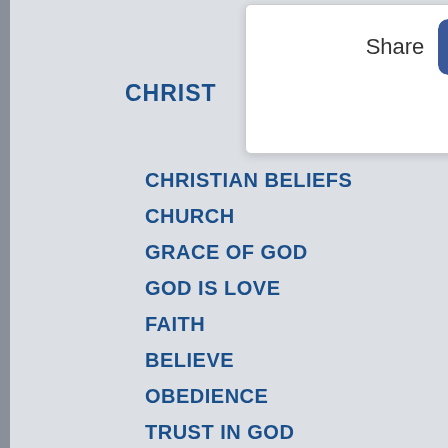[Figure (screenshot): Share popup with social media icons: Facebook, Twitter, Pinterest, Tumblr, Reddit, WhatsApp]
CHRIST...
CHRISTIAN BELIEFS
CHURCH
GRACE OF GOD
GOD IS LOVE
FAITH
BELIEVE
OBEDIENCE
TRUST IN GOD
HOPE
PRAYER
PRAY THE WORD
WORSHIP
PRAISE
HOLINESS
REPENTANT LIFESTYLE
ETERNAL LIFE
FRUIT OF THE SPIRIT